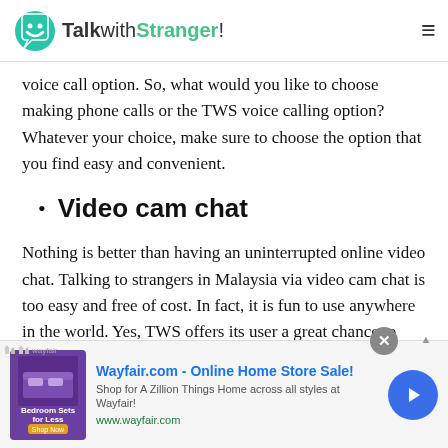TalkwithStranger!
voice call option. So, what would you like to choose making phone calls or the TWS voice calling option? Whatever your choice, make sure to choose the option that you find easy and convenient.
Video cam chat
Nothing is better than having an uninterrupted online video chat. Talking to strangers in Malaysia via video cam chat is too easy and free of cost. In fact, it is fun to use anywhere in the world. Yes, TWS offers its user a great chance to make a video
[Figure (screenshot): Wayfair advertisement banner: 'Wayfair.com - Online Home Store Sale!' with thumbnail image of bedroom furniture, tagline 'Shop for A Zillion Things Home across all styles at Wayfair!' and URL www.wayfair.com, with a circular close button and a blue play/next button.]